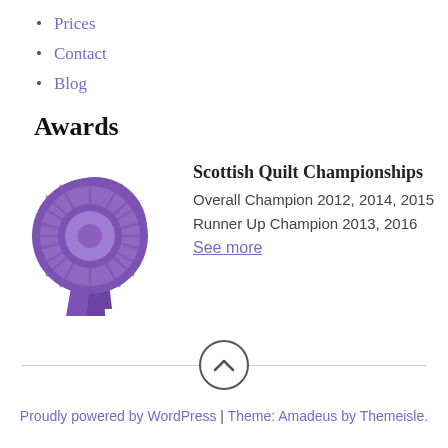Prices
Contact
Blog
Awards
[Figure (illustration): Two purple award rosettes/ribbons overlapping, purple color with decorative pleated circular design and hanging ribbon tails]
Scottish Quilt Championships
Overall Champion 2012, 2014, 2015
Runner Up Champion 2013, 2016
See more
[Figure (other): Circular button with upward chevron arrow for scrolling to top of page, with horizontal divider line]
Proudly powered by WordPress | Theme: Amadeus by Themeisle.